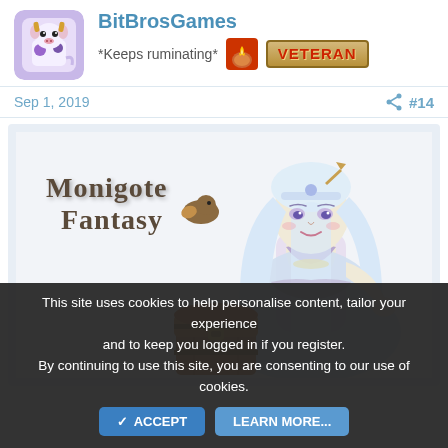BitBrosGames
*Keeps ruminating*
VETERAN
Sep 1, 2019
#14
[Figure (illustration): Monigote Fantasy game artwork showing a fantasy female character with long white/silver hair, wearing ornate clothing, next to a treasure chest. The Monigote Fantasy logo appears in the upper left.]
This site uses cookies to help personalise content, tailor your experience and to keep you logged in if you register.
By continuing to use this site, you are consenting to our use of cookies.
ACCEPT
LEARN MORE...